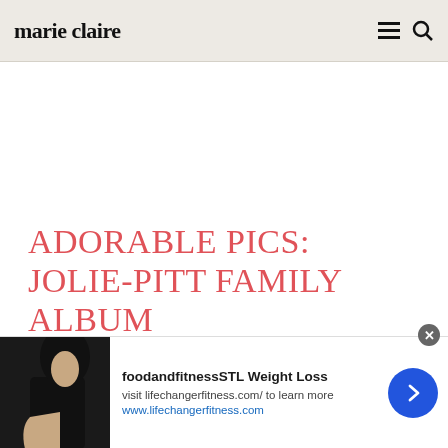marie claire
ADORABLE PICS: JOLIE-PITT FAMILY ALBUM
MORE CELEBRITY NEWS
[Figure (screenshot): Advertisement banner for foodandfitnessSTL Weight Loss. Shows a woman holding a blue water bottle, with ad text: 'foodandfitnessSTL Weight Loss', 'visit lifechangerfitness.com/ to learn more', 'www.lifechangerfitness.com', and a blue arrow button.]